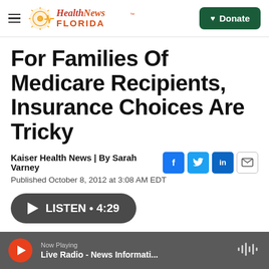Health News Florida — Donate
For Families Of Medicare Recipients, Insurance Choices Are Tricky
Kaiser Health News | By Sarah Varney
Published October 8, 2012 at 3:08 AM EDT
LISTEN • 4:29
Now Playing — Live Radio - News Informati...